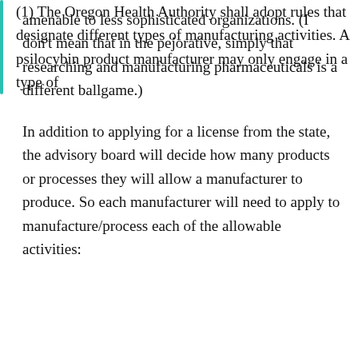amenable to less sophisticated organizations. (I don't mean that in the pejorative, simply that researching and manufacturing pharmaceuticals is a different ballgame.)
In addition to applying for a license from the state, the advisory board will decide how many products or processes they will allow a manufacturer to produce. So each manufacturer will need to apply to manufacture/process each of the allowable activities:
(1) The Oregon Health Authority shall adopt rules that designate different types of manufacturing activities. A psilocybin product manufacturer may only engage in a type of